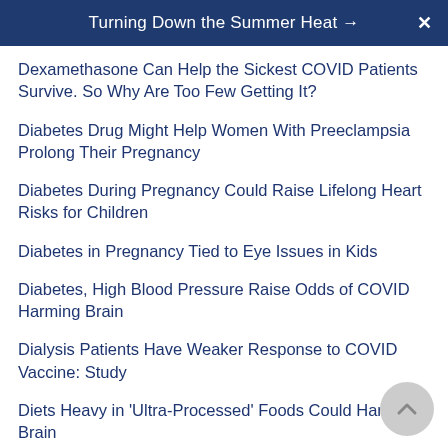Turning Down the Summer Heat →  ✕
Dexamethasone Can Help the Sickest COVID Patients Survive. So Why Are Too Few Getting It?
Diabetes Drug Might Help Women With Preeclampsia Prolong Their Pregnancy
Diabetes During Pregnancy Could Raise Lifelong Heart Risks for Children
Diabetes in Pregnancy Tied to Eye Issues in Kids
Diabetes, High Blood Pressure Raise Odds of COVID Harming Brain
Dialysis Patients Have Weaker Response to COVID Vaccine: Study
Diets Heavy in 'Ultra-Processed' Foods Could Harm the Brain
Dirtier Air May Bring More COVID-19 Deaths
Dirty Air Can Worsen COVID Outcomes